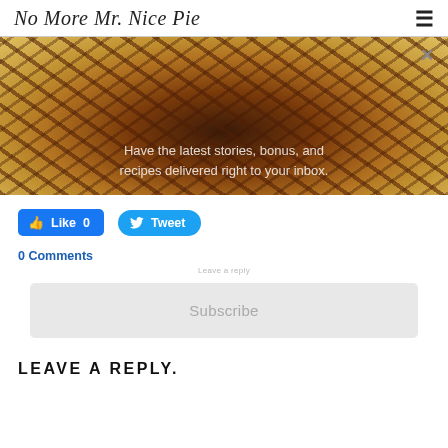No More Mr. Nice Pie
[Figure (photo): Close-up photo of a pie topped with pretzel sticks and peanuts on a dark wooden surface, with a semi-transparent overlay reading 'Have the latest stories, bonus, and recipes delivered right to your inbox.']
Like 0   Tweet
0 Comments
Subscribe
LEAVE A REPLY.